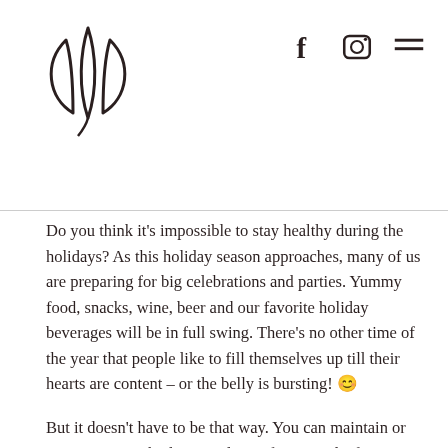[Figure (logo): Stylized leaf/plant logo made of curved lines forming three petal shapes]
[Figure (other): Social media icons: Facebook (f), Instagram (camera), and hamburger menu (three lines)]
Do you think it’s impossible to stay healthy during the holidays?  As this holiday season approaches, many of us are preparing for big celebrations and parties. Yummy food, snacks, wine, beer and our favorite holiday beverages will be in full swing.  There’s no other time of the year that people like to fill themselves up till their hearts are content – or the belly is bursting! 😊
But it doesn’t have to be that way.  You can maintain or even gear your body up to drop a few pounds if you follow a few easy tips.